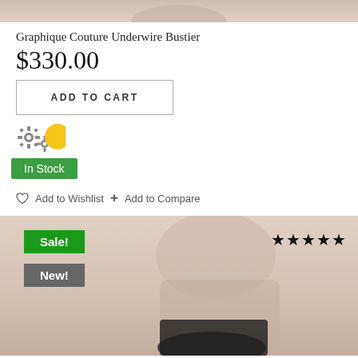[Figure (photo): Partial view of a lingerie product photo at the very top of the page, cropped]
Graphique Couture Underwire Bustier
$330.00
ADD TO CART
[Figure (illustration): Gear/settings icons and a yellow circle button]
In Stock
Add to Wishlist  +  Add to Compare
[Figure (photo): Product photo of woman wearing dark underwear bottom, with Sale! and New! badges and 5-star rating]